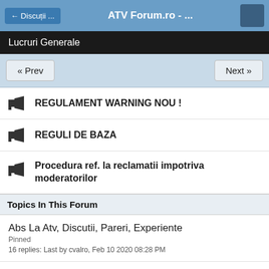← Discuții ...   ATV Forum.ro - ...
Lucruri Generale
« Prev    Next »
REGULAMENT WARNING NOU !
REGULI DE BAZA
Procedura ref. la reclamatii impotriva moderatorilor
Topics In This Forum
Abs La Atv, Discutii, Pareri, Experiente
Pinned
16 replies: Last by cvalro, Feb 10 2020 08:28 PM
Sondaj Baterie Lithium Vs Baterie Clasica   Poll
2 pages
20 replies: Last by cvalro, Jul 27 2022 08:45 PM